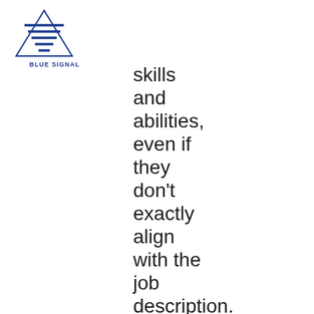[Figure (logo): Blue Signal logo: triangle shape with horizontal lines, text BLUE SIGNAL below]
skills and abilities, even if they don't exactly align with the job description.

Take for instance your